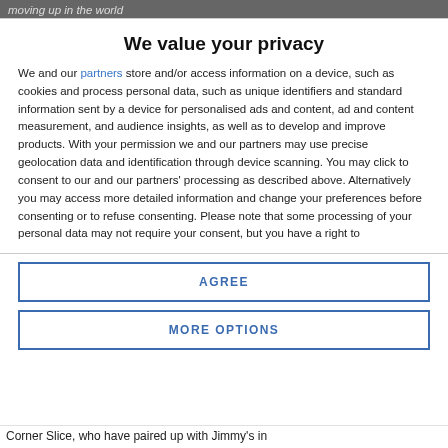moving up in the world
We value your privacy
We and our partners store and/or access information on a device, such as cookies and process personal data, such as unique identifiers and standard information sent by a device for personalised ads and content, ad and content measurement, and audience insights, as well as to develop and improve products. With your permission we and our partners may use precise geolocation data and identification through device scanning. You may click to consent to our and our partners' processing as described above. Alternatively you may access more detailed information and change your preferences before consenting or to refuse consenting. Please note that some processing of your personal data may not require your consent, but you have a right to
AGREE
MORE OPTIONS
Corner Slice, who have paired up with Jimmy's in